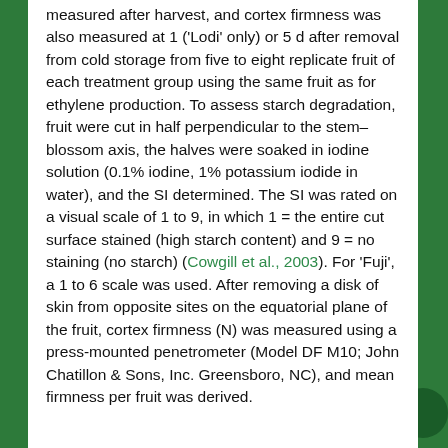measured after harvest, and cortex firmness was also measured at 1 ('Lodi' only) or 5 d after removal from cold storage from five to eight replicate fruit of each treatment group using the same fruit as for ethylene production. To assess starch degradation, fruit were cut in half perpendicular to the stem–blossom axis, the halves were soaked in iodine solution (0.1% iodine, 1% potassium iodide in water), and the SI determined. The SI was rated on a visual scale of 1 to 9, in which 1 = the entire cut surface stained (high starch content) and 9 = no staining (no starch) (Cowgill et al., 2003). For 'Fuji', a 1 to 6 scale was used. After removing a disk of skin from opposite sites on the equatorial plane of the fruit, cortex firmness (N) was measured using a press-mounted penetrometer (Model DF M10; John Chatillon & Sons, Inc. Greensboro, NC), and mean firmness per fruit was derived.